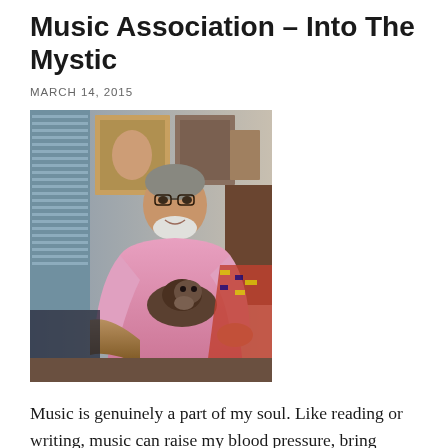Music Association – Into The Mystic
MARCH 14, 2015
[Figure (photo): An elderly man with a white beard, wearing a pink shirt, sitting in a wicker chair holding a pug dog on his lap. Behind him is artwork on the walls and a window with blinds.]
Music is genuinely a part of my soul. Like reading or writing, music can raise my blood pressure, bring